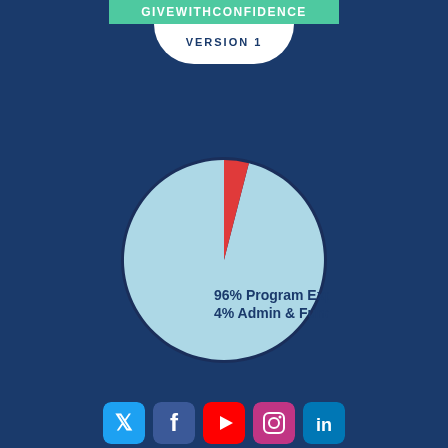VERSION 1
[Figure (pie-chart): Program Expenses vs Admin & Fundraising]
[Figure (infographic): Social media icons row: Twitter, Facebook, YouTube, Instagram, LinkedIn]